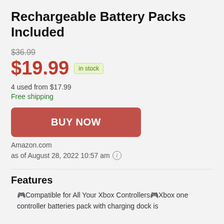Rechargeable Battery Packs Included
$36.99 (strikethrough original price)
$19.99 in stock
4 used from $17.99
Free shipping
BUY NOW
Amazon.com
as of August 28, 2022 10:57 am
Features
🎮Compatible for All Your Xbox Controllers🎮Xbox one controller batteries pack with charging dock is